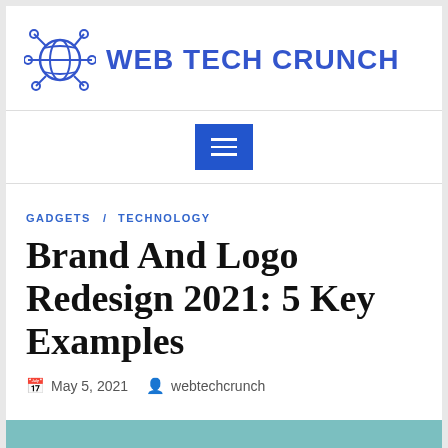[Figure (logo): Web Tech Crunch logo: blue globe/network icon with text WEB TECH CRUNCH in bold blue]
[Figure (screenshot): Blue hamburger/menu button in navigation bar]
GADGETS    TECHNOLOGY
Brand And Logo Redesign 2021: 5 Key Examples
May 5, 2021    webtechcrunch